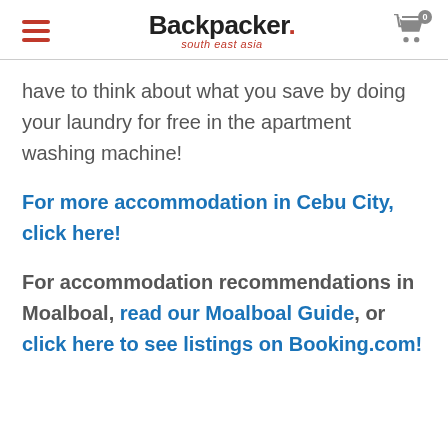Backpacker. south east asia
have to think about what you save by doing your laundry for free in the apartment washing machine!
For more accommodation in Cebu City, click here!
For accommodation recommendations in Moalboal, read our Moalboal Guide, or click here to see listings on Booking.com!